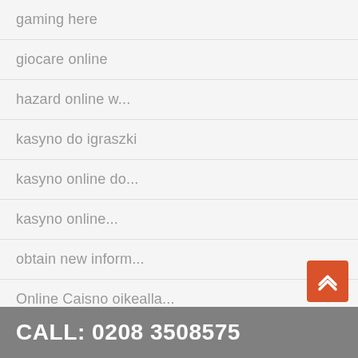gaming here
giocare online
hazard online w...
kasyno do igraszki
kasyno online do...
kasyno online...
obtain new inform...
Online Caisno oikealla...
online casino
play casino inf...
CALL: 0208 3508575